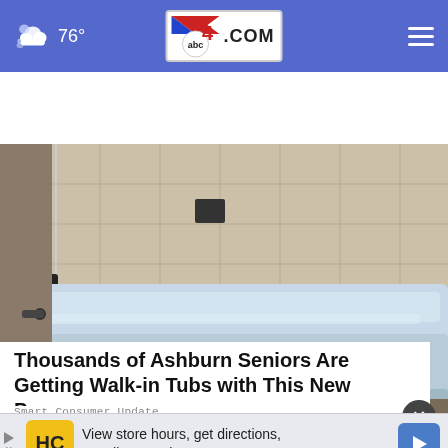76° abc4.com
[Figure (photo): A white/light blue bathtub in a bathroom with tiled walls, viewed from a slightly elevated angle. The tub appears to be a standard alcove tub with dark faucet fixtures on the left side and a dark square drain fixture on the tiled wall above.]
Thousands of Ashburn Seniors Are Getting Walk-in Tubs with This New Program
Smart Consumer Update
[Figure (other): Advertisement banner: 'View store hours, get directions, or call your salon!' with an HC logo on yellow background and a blue navigation arrow icon.]